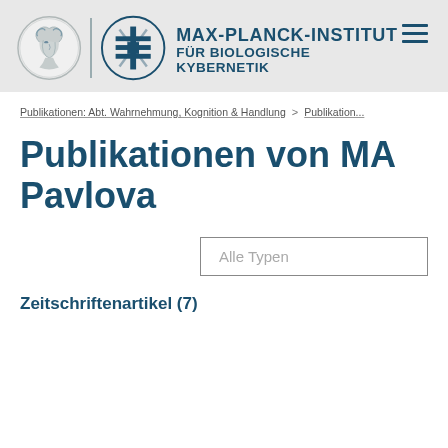[Figure (logo): Max-Planck-Institut für Biologische Kybernetik logo with Minerva circle emblem and geometric institute symbol, plus institute name text]
Publikationen: Abt. Wahrnehmung, Kognition & Handlung > Publikation...
Publikationen von MA Pavlova
Alle Typen
Zeitschriftenartikel (7)